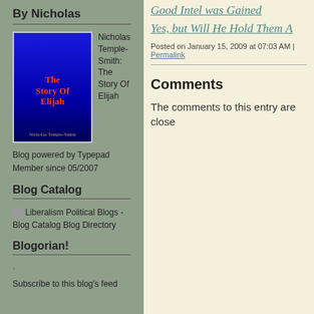By Nicholas
[Figure (illustration): Book cover for 'The Story Of Elijah' by Nicholas Temple-Smith, blue gradient background with red title text]
Nicholas Temple-Smith: The Story Of Elijah
Blog powered by Typepad
Member since 05/2007
Blog Catalog
Liberalism Political Blogs - Blog Catalog Blog Directory
Blogorian!
·
Subscribe to this blog's feed
Good Intel was Gained
Yes, but Will He Hold Them A
Posted on January 15, 2009 at 07:03 AM | Permalink
Comments
The comments to this entry are close